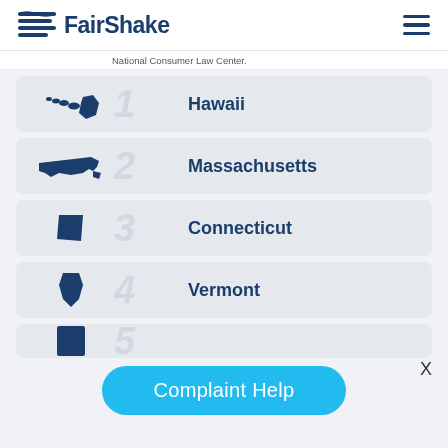[Figure (logo): FairShake logo with wave icon and bold text]
National Consumer Law Center.
1 Hawaii
2 Massachusetts
3 Connecticut
4 Vermont
5 (partial, state not visible)
X
Complaint Help